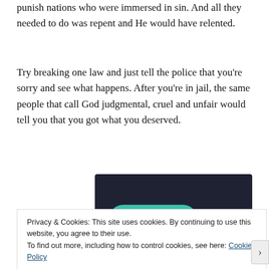punish nations who were immersed in sin. And all they needed to do was repent and He would have relented.
Try breaking one law and just tell the police that you're sorry and see what happens. After you're in jail, the same people that call God judgmental, cruel and unfair would tell you that you got what you deserved.
[Figure (other): Dark navy advertisement banner with a teal 'Learn More' button on the left side.]
Privacy & Cookies: This site uses cookies. By continuing to use this website, you agree to their use.
To find out more, including how to control cookies, see here: Cookie Policy
Close and accept